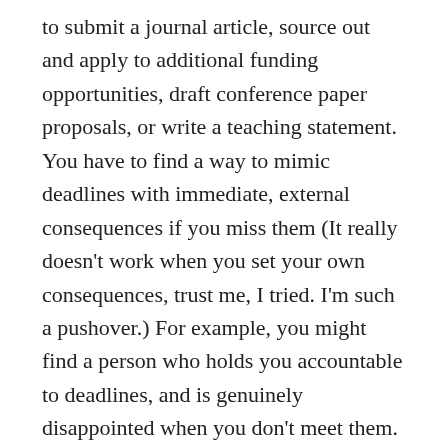to submit a journal article, source out and apply to additional funding opportunities, draft conference paper proposals, or write a teaching statement. You have to find a way to mimic deadlines with immediate, external consequences if you miss them (It really doesn't work when you set your own consequences, trust me, I tried. I'm such a pushover.) For example, you might find a person who holds you accountable to deadlines, and is genuinely disappointed when you don't meet them. I joined an agraphia group that meets bi-weekly to set concrete writing goals and to report on the previous goals we all set (shout out to George, Kyle, Monique & Saeed who shame me when writing goals are unmet).